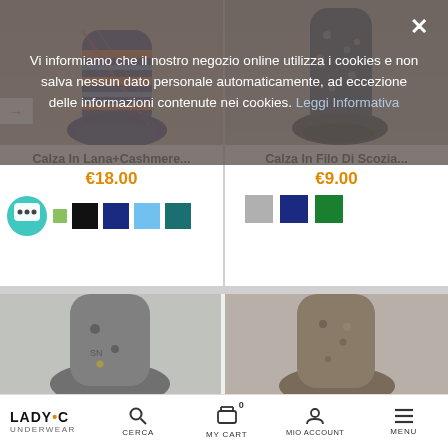Vi informiamo che il nostro negozio online utilizza i cookies e non salva nessun dato personale automaticamente, ad eccezione delle informazioni contenute nei cookies. Leggi Informativa
[Figure (photo): Product card showing colorful striped argyle socks - Calza In Lana+Cashmere]
Calza In Lana+Cashmere...
€18.00
[Figure (photo): Product card showing dark navy socks with dot pattern - Calza In Filo Di Scozia]
Calza In Filo Di Scozia...
€9.00
[Figure (photo): Partial product card showing gray sock at bottom left]
[Figure (photo): Partial product card showing brown/taupe sock at bottom right]
LADY•C underwear  CERCA  MY CART  0  MIO ACCOUNT  MENU